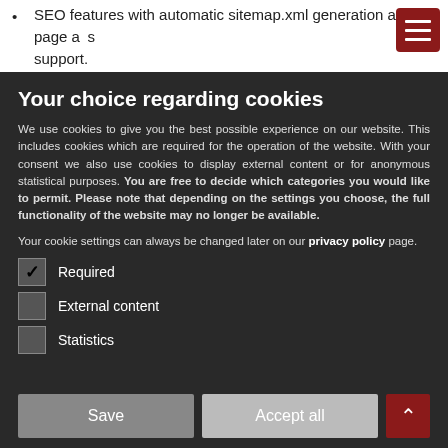SEO features with automatic sitemap.xml generation and page aliases support
Your choice regarding cookies
We use cookies to give you the best possible experience on our website. This includes cookies which are required for the operation of the website. With your consent we also use cookies to display external content or for anonymous statistical purposes. You are free to decide which categories you would like to permit. Please note that depending on the settings you choose, the full functionality of the website may no longer be available.
Your cookie settings can always be changed later on our privacy policy page.
Required
External content
Statistics